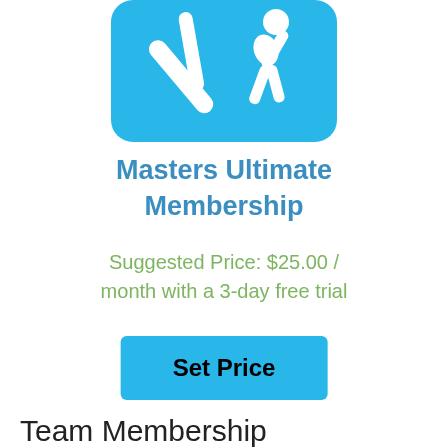[Figure (logo): Blue rounded-square app icon with white stylized running/throwing figures and crossed tools, representing Masters Ultimate Membership]
Masters Ultimate Membership
Suggested Price: $25.00 / month with a 3-day free trial
Set Price
Team Membership